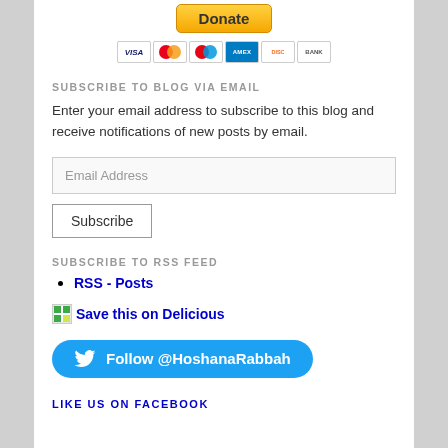[Figure (other): PayPal Donate button with credit card icons (Visa, Mastercard, Maestro, Amex, Discover, generic card)]
SUBSCRIBE TO BLOG VIA EMAIL
Enter your email address to subscribe to this blog and receive notifications of new posts by email.
Email Address
Subscribe
SUBSCRIBE TO RSS FEED
RSS - Posts
Save this on Delicious
Follow @HoshanaRabbah
LIKE US ON FACEBOOK